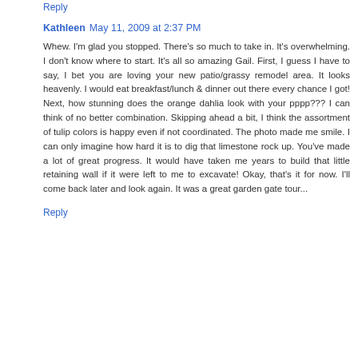Reply
Kathleen May 11, 2009 at 2:37 PM
Whew. I'm glad you stopped. There's so much to take in. It's overwhelming. I don't know where to start. It's all so amazing Gail. First, I guess I have to say, I bet you are loving your new patio/grassy remodel area. It looks heavenly. I would eat breakfast/lunch & dinner out there every chance I got! Next, how stunning does the orange dahlia look with your pppp??? I can think of no better combination. Skipping ahead a bit, I think the assortment of tulip colors is happy even if not coordinated. The photo made me smile. I can only imagine how hard it is to dig that limestone rock up. You've made a lot of great progress. It would have taken me years to build that little retaining wall if it were left to me to excavate! Okay, that's it for now. I'll come back later and look again. It was a great garden gate tour...
Reply